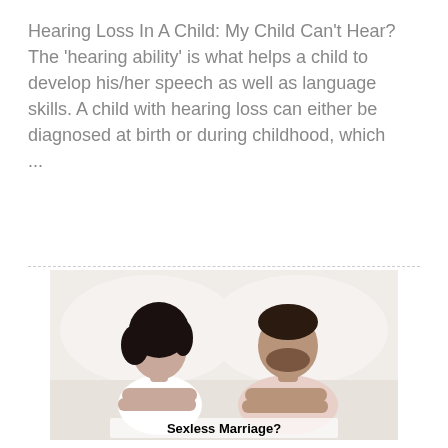Hearing Loss In A Child: My Child Can't Hear? The 'hearing ability' is what helps a child to develop his/her speech as well as language skills. A child with hearing loss can either be diagnosed at birth or during childhood, which ...
[Figure (photo): A man and woman sitting up in bed with arms crossed, looking away from each other, both appear upset. Text overlay reads 'Sexless Marriage?']
Sexless Marriage?